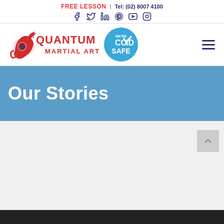FREE LESSON | Tel: (02) 8007 4100
[Figure (logo): Quantum Martial Arts logo with red dragon and text, alongside a blue COVID Safe badge]
Our Stories
[Figure (photo): Dark bottom strip image partially visible]